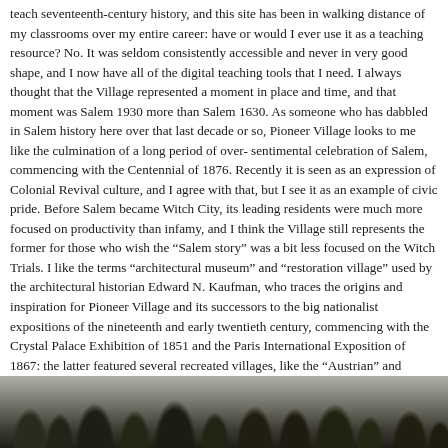teach seventeenth-century history, and this site has been in walking distance of my classrooms over my entire career: have or would I ever use it as a teaching resource? No. It was seldom consistently accessible and never in very good shape, and I now have all of the digital teaching tools that I need. I always thought that the Village represented a moment in place and time, and that moment was Salem 1930 more than Salem 1630. As someone who has dabbled in Salem history here over that last decade or so, Pioneer Village looks to me like the culmination of a long period of oversentimental celebration of Salem, commencing with the Centennial of 1876. Recently it is seen as an expression of Colonial Revival culture, and I agree with that, but I see it as an example of civic pride. Before Salem became Witch City, its leading residents were much more focused on productivity than infamy, and I think the Village still represents the former for those who wish the “Salem story” was a bit less focused on the Witch Trials. I like the terms “architectural museum” and “restoration village” used by the architectural historian Edward N. Kaufman, who traces the origins and inspiration for Pioneer Village and its successors to the big nationalist expositions of the nineteenth and early twentieth century, commencing with the Crystal Palace Exhibition of 1851 and the Paris International Exposition of 1867: the latter featured several recreated villages, like the “Austrian” and “Russian Peasant” Villages. Like Pioneer Village, these were exhibits built for a specific event. Unlike Pioneer Village, they were dismantled after that event. Americans, including residents of Salem and its region, wanted their “history” stay around for longer.
[Figure (photo): Black and white historical photograph showing a landscape with trees silhouetted against a light sky, the bottom portion of a scene likely depicting Pioneer Village or surrounding area.]